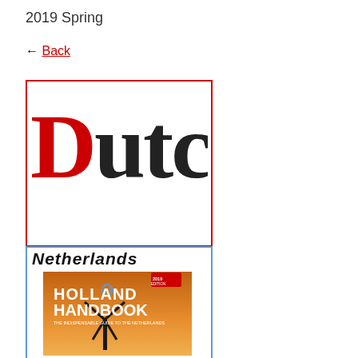2019 Spring
← Back
[Figure (logo): Dutch magazine logo — large serif text reading 'Dutch' with red capital D and black 'utch', inside a red-bordered box]
[Figure (photo): Holland Handbook book cover — orange sunset background with windmill silhouette, bold white text reading 'HOLLAND HANDBOOK The Indispensable Guide to the Netherlands', with a small globe icon and '2019 Edition' ribbon. Title bar above reads 'Netherlands' in bold italic.]